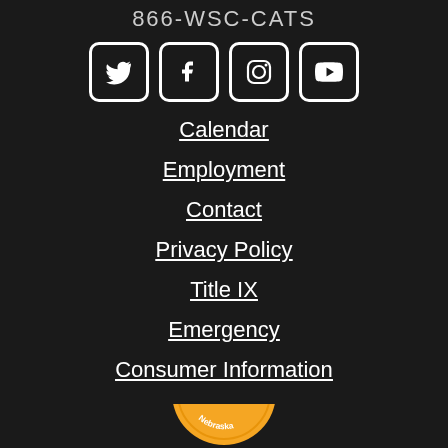866-WSC-CATS
[Figure (other): Social media icons: Twitter, Facebook, Instagram, YouTube]
Calendar
Employment
Contact
Privacy Policy
Title IX
Emergency
Consumer Information
[Figure (logo): College Affordability Guide badge — Nebraska, gold circular badge with stars]